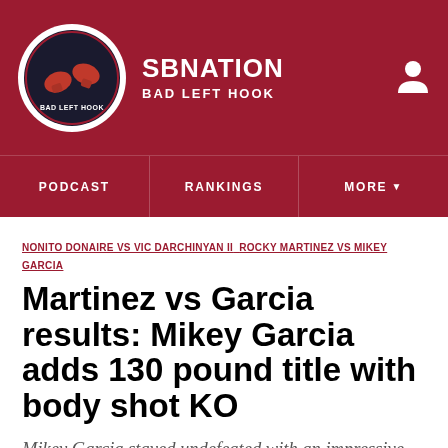SB NATION | BAD LEFT HOOK
PODCAST | RANKINGS | MORE
NONITO DONAIRE VS VIC DARCHINYAN II  ROCKY MARTINEZ VS MIKEY GARCIA
Martinez vs Garcia results: Mikey Garcia adds 130 pound title with body shot KO
Mikey Garcia stayed undefeated with an impressive knockout of Rocky Martinez tonight on HBO, winning on a vicious body shot in the eighth round.
By Scott Christ | @scbih1 | Nov 19, 2013, 10:31am EST